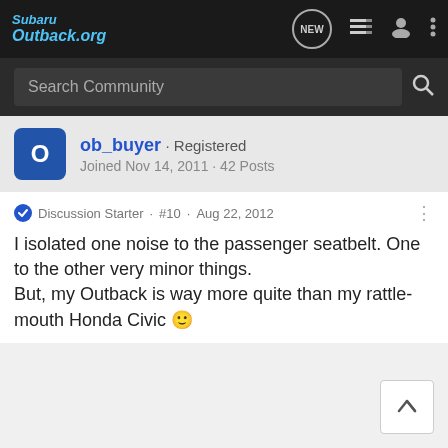SubaruOutback.org
Search Community
ob_buyer · Registered
Joined Nov 14, 2011 · 42 Posts
Discussion Starter · #10 · Aug 22, 2012
I isolated one noise to the passenger seatbelt. One to the other very minor things.
But, my Outback is way more quite than my rattle-mouth Honda Civic 🙂